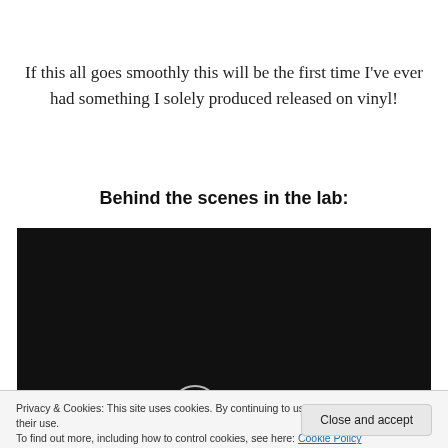If this all goes smoothly this will be the first time I've ever had something I solely produced released on vinyl!
Behind the scenes in the lab:
[Figure (screenshot): Dark video player thumbnail with a circular play button icon at the bottom center]
Privacy & Cookies: This site uses cookies. By continuing to use this website, you agree to their use.
To find out more, including how to control cookies, see here: Cookie Policy
Close and accept
Advertisements